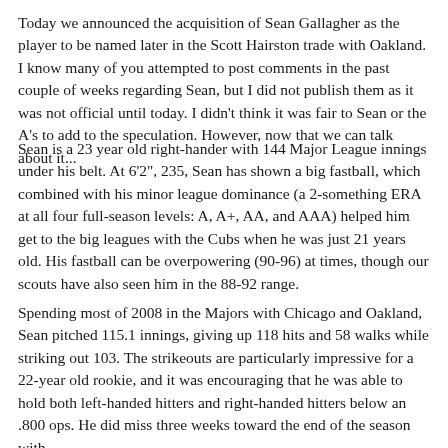Today we announced the acquisition of Sean Gallagher as the player to be named later in the Scott Hairston trade with Oakland. I know many of you attempted to post comments in the past couple of weeks regarding Sean, but I did not publish them as it was not official until today. I didn't think it was fair to Sean or the A's to add to the speculation. However, now that we can talk about it...
Sean is a 23 year old right-hander with 144 Major League innings under his belt. At 6'2", 235, Sean has shown a big fastball, which combined with his minor league dominance (a 2-something ERA at all four full-season levels: A, A+, AA, and AAA) helped him get to the big leagues with the Cubs when he was just 21 years old. His fastball can be overpowering (90-96) at times, though our scouts have also seen him in the 88-92 range.
Spending most of 2008 in the Majors with Chicago and Oakland, Sean pitched 115.1 innings, giving up 118 hits and 58 walks while striking out 103. The strikeouts are particularly impressive for a 22-year old rookie, and it was encouraging that he was able to hold both left-handed hitters and right-handed hitters below an .800 ops. He did miss three weeks toward the end of the season with